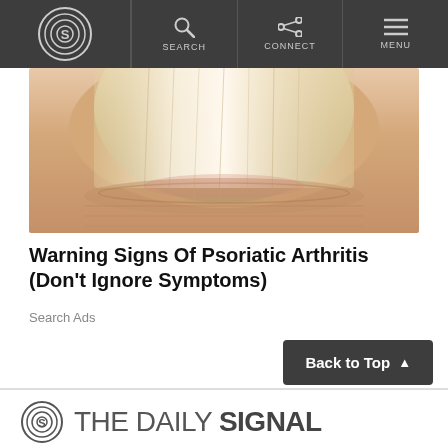THE DAILY SIGNAL — SEARCH | CONNECT | MENU
[Figure (photo): Close-up photograph of a fingernail showing signs of psoriatic arthritis — discoloration, ridging, and skin texture changes]
Warning Signs Of Psoriatic Arthritis (Don't Ignore Symptoms)
Search Ads
Back to Top ▲
THE DAILY SIGNAL (logo with concentric S circle)